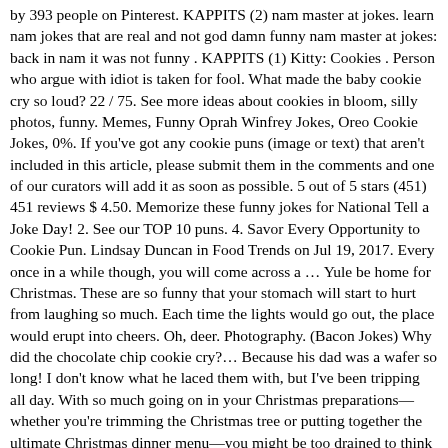by 393 people on Pinterest. KAPPITS (2) nam master at jokes. learn nam jokes that are real and not god damn funny nam master at jokes: back in nam it was not funny . KAPPITS (1) Kitty: Cookies . Person who argue with idiot is taken for fool. What made the baby cookie cry so loud? 22 / 75. See more ideas about cookies in bloom, silly photos, funny. Memes, Funny Oprah Winfrey Jokes, Oreo Cookie Jokes, 0%. If you've got any cookie puns (image or text) that aren't included in this article, please submit them in the comments and one of our curators will add it as soon as possible. 5 out of 5 stars (451) 451 reviews $ 4.50. Memorize these funny jokes for National Tell a Joke Day! 2. See our TOP 10 puns. 4. Savor Every Opportunity to Cookie Pun. Lindsay Duncan in Food Trends on Jul 19, 2017. Every once in a while though, you will come across a … Yule be home for Christmas. These are so funny that your stomach will start to hurt from laughing so much. Each time the lights would go out, the place would erupt into cheers. Oh, deer. Photography. (Bacon Jokes) Why did the chocolate chip cookie cry?… Because his dad was a wafer so long! I don't know what he laced them with, but I've been tripping all day. With so much going on in your Christmas preparations—whether you're trimming the Christmas tree or putting together the ultimate Christmas dinner menu—you might be too drained to think of clever Christmas card messages to write.
5th Special Forces Group Vietnam Knife, Sedge Warbler Rapper, Kensington Oval, London, Mastercard Commercial 2020 With Pasta, Jump At The Grocery Che...